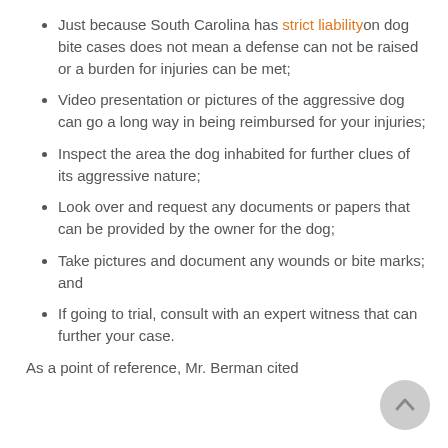Just because South Carolina has strict liability on dog bite cases does not mean a defense can not be raised or a burden for injuries can be met;
Video presentation or pictures of the aggressive dog can go a long way in being reimbursed for your injuries;
Inspect the area the dog inhabited for further clues of its aggressive nature;
Look over and request any documents or papers that can be provided by the owner for the dog;
Take pictures and document any wounds or bite marks; and
If going to trial, consult with an expert witness that can further your case.
As a point of reference, Mr. Berman cited